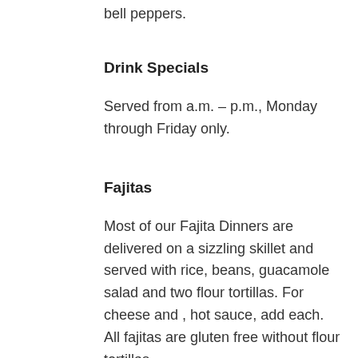bell peppers.
Drink Specials
Served from a.m. – p.m., Monday through Friday only.
Fajitas
Most of our Fajita Dinners are delivered on a sizzling skillet and served with rice, beans, guacamole salad and two flour tortillas. For cheese and , hot sauce, add each. All fajitas are gluten free without flour tortillas